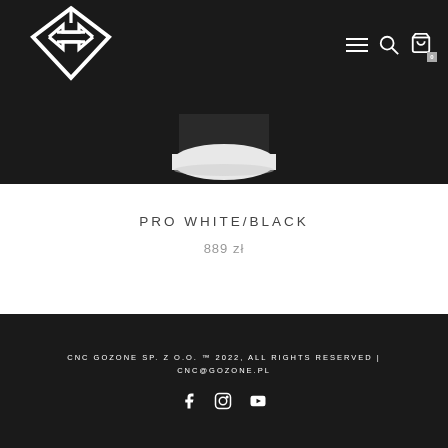[Figure (logo): GZ diamond-shaped white logo on dark background]
[Figure (photo): Partial product photo showing bottom of black and white item against dark background]
PRO WHITE/BLACK
889 zł
CNC GOZONE SP. Z O.O. ™ 2022, ALL RIGHTS RESERVED | CNC@GOZONE.PL